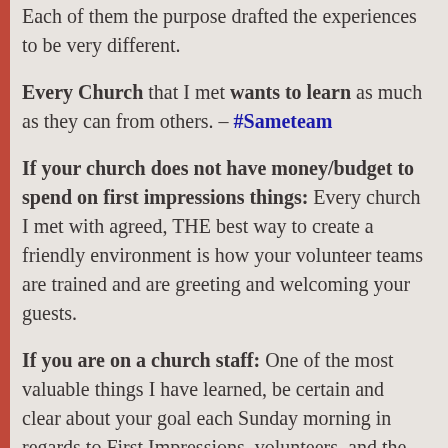Each of them the purpose drafted the experiences to be very different.
Every Church that I met wants to learn as much as they can from others. – #Sameteam
If your church does not have money/budget to spend on first impressions things: Every church I met with agreed, THE best way to create a friendly environment is how your volunteer teams are trained and are greeting and welcoming your guests.
If you are on a church staff: One of the most valuable things I have learned, be certain and clear about your goal each Sunday morning in regards to First Impressions, volunteers, and the guest